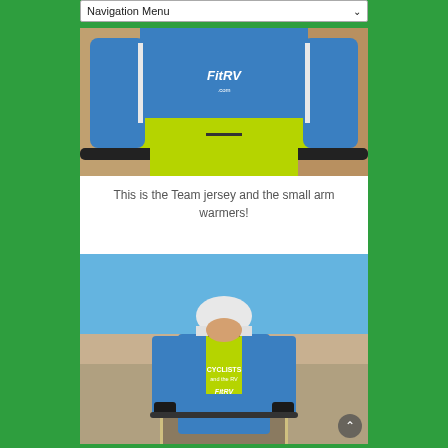Navigation Menu
[Figure (photo): Close-up of a cyclist wearing a blue and yellow-green FitRV Team jersey, holding bicycle handlebars. White FitRV logo visible on the chest. Small arm warmers visible on the arms.]
This is the Team jersey and the small arm warmers!
[Figure (photo): A male cyclist standing on a desert road wearing a blue and yellow-green Cyclists and the RV / FitRV jersey, white helmet, and sunglasses. Blue sky with desert landscape in background.]